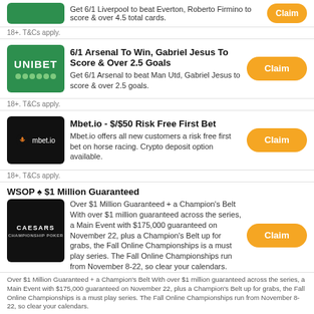Get 6/1 Liverpool to beat Everton, Roberto Firmino to score & over 4.5 total cards.
18+. T&Cs apply.
6/1 Arsenal To Win, Gabriel Jesus To Score & Over 2.5 Goals
Get 6/1 Arsenal to beat Man Utd, Gabriel Jesus to score & over 2.5 goals.
18+. T&Cs apply.
Mbet.io - $/$50 Risk Free First Bet
Mbet.io offers all new customers a risk free first bet on horse racing. Crypto deposit option available.
18+. T&Cs apply.
WSOP ♠ $1 Million Guaranteed
Over $1 Million Guaranteed + a Champion's Belt With over $1 million guaranteed across the series, a Main Event with $175,000 guaranteed on November 22, plus a Champion's Belt up for grabs, the Fall Online Championships is a must play series. The Fall Online Championships run from November 8-22, so clear your calendars.
Over $1 Million Guaranteed + a Champion's Belt With over $1 million guaranteed across the series, a Main Event with $175,000 guaranteed on November 22, plus a Champion's Belt up for grabs, the Fall Online Championships is a must play series. The Fall Online Championships run from November 8-22, so clear your calendars.